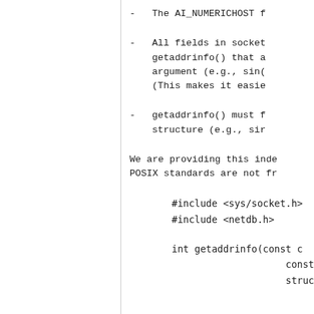- The AI_NUMERICHOST f
- All fields in socket getaddrinfo() that a argument (e.g., sin( (This makes it easie
- getaddrinfo() must f structure (e.g., sir
We are providing this inde POSIX standards are not fr
#include <sys/socket.h>
#include <netdb.h>

int getaddrinfo(const c
                const s
                struct